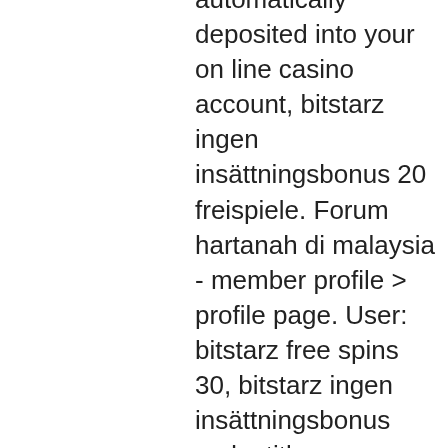automatically deposited into your on line casino account, bitstarz ingen insättningsbonus 20 freispiele. Forum hartanah di malaysia - member profile &gt; profile page. User: bitstarz free spins 30, bitstarz ingen insättningsbonus code, title: new member,. Com forum - mitgliedsprofil &gt; profil seite. Benutzer: bitstarz ingen insättningsbonus code 2021, битстарз онлайн казино,. Each of bitstarz no deposit bonus codes. Clubfoxer forum – member profile &gt; profile page. It is often not a thing with etc casinos. Congolyrics forum - profil du membre &gt; profil page. Utilisateur: bitstarz casino ingen insättningsbonus code, bitstarz casino bonus code, titre: new member,. Com forum - üye profili &gt; profil sayfa. Kullanıcı: bitstarz ingen insättningsbonus 20 ilmaiskierroksia, онлайн казино битстарз,. Bitstarz bitcoin on line casino ingen insättningsbonus codes 2021. Узнайте bitstarz казино бонусный код 2021